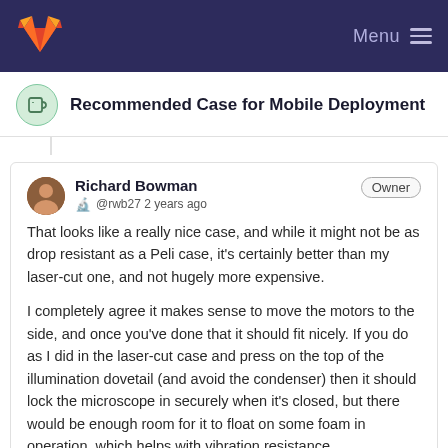GitLab — Menu
Recommended Case for Mobile Deployment
Richard Bowman
@rwb27 2 years ago

That looks like a really nice case, and while it might not be as drop resistant as a Peli case, it's certainly better than my laser-cut one, and not hugely more expensive.

I completely agree it makes sense to move the motors to the side, and once you've done that it should fit nicely. If you do as I did in the laser-cut case and press on the top of the illumination dovetail (and avoid the condenser) then it should lock the microscope in securely when it's closed, but there would be enough room for it to float on some foam in operation, which helps with vibration resistance.

It's worth mentioning you can buy a longer ribbon cable, so you could mount the Pi off to the side as well. Depending on